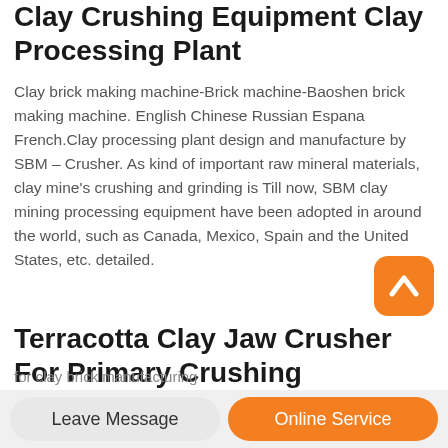Clay Crushing Equipment Clay Processing Plant
Clay brick making machine-Brick machine-Baoshen brick making machine. English Chinese Russian Espana French.Clay processing plant design and manufacture by SBM – Crusher. As kind of important raw mineral materials, clay mine's crushing and grinding is Till now, SBM clay mining processing equipment have been adopted in around the world, such as Canada, Mexico, Spain and the United States, etc. detailed.
Terracotta Clay Jaw Crusher For Primary Crushing
for clay brick manufacturing
[Figure (other): Orange rounded square scroll-to-top button with white upward chevron icon]
Leave Message   Online Service